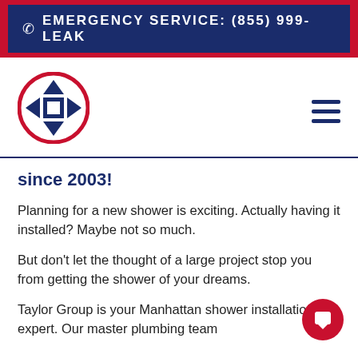EMERGENCY SERVICE: (855) 999-LEAK
[Figure (logo): Taylor Group circular logo with house outline in blue and red circle border]
since 2003!
Planning for a new shower is exciting. Actually having it installed? Maybe not so much.
But don't let the thought of a large project stop you from getting the shower of your dreams.
Taylor Group is your Manhattan shower installation expert. Our master plumbing team